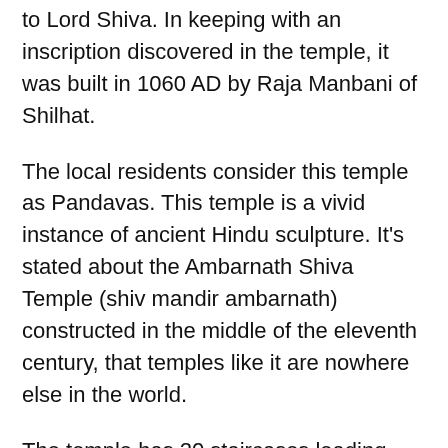The Hindu Shiva Temple in Ambarnath is devoted to Lord Shiva. In keeping with an inscription discovered in the temple, it was built in 1060 AD by Raja Manbani of Shilhat.
The local residents consider this temple as Pandavas. This temple is a vivid instance of ancient Hindu sculpture. It's stated about the Ambarnath Shiva Temple (shiv mandir ambarnath) constructed in the middle of the eleventh century, that temples like it are nowhere else in the world.
The temple has 20 staircases leading down to the main room known as Ghabhra; And there is a Shivling in the heart of the room. On the occasion